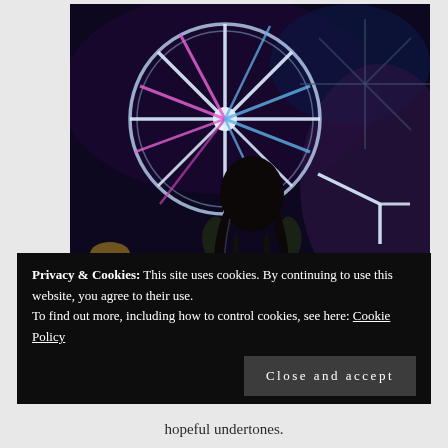[Figure (photo): A woman with long dark hair seen from behind, wearing a dark knit/mesh top, standing in front of a brightly lit neon Ferris wheel at night with colorful lights in purple, blue, pink, and white.]
Privacy & Cookies: This site uses cookies. By continuing to use this website, you agree to their use.
To find out more, including how to control cookies, see here: Cookie Policy
Close and accept
hopeful undertones.